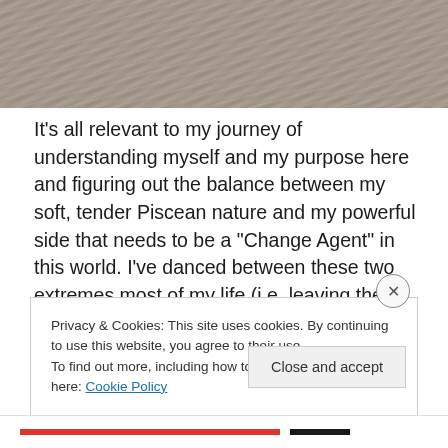[Figure (photo): Close-up photograph of a rough stone or rock texture with muted gray-brown tones, showing natural striations and surface variation.]
It's all relevant to my journey of understanding myself and my purpose here and figuring out the balance between my soft, tender Piscean nature and my powerful side that needs to be a “Change Agent” in this world. I’ve danced between these two extremes most of my life (i.e. leaving the Marine Corps to be a photographer and then going back in to go to war) but it feels time to bridge the two and dance with both simultaneously with grace.
Privacy & Cookies: This site uses cookies. By continuing to use this website, you agree to their use.
To find out more, including how to control cookies, see here: Cookie Policy
Close and accept